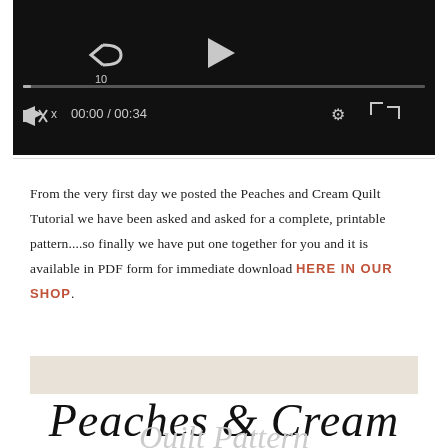[Figure (screenshot): Video player with black background showing playback controls: rewind 10s button, play button, progress bar, mute button, time display 00:00 / 00:34, settings gear icon, fullscreen icon]
From the very first day we posted the Peaches and Cream Quilt Tutorial we have been asked and asked for a complete, printable pattern....so finally we have put one together for you and it is available in PDF form for immediate download HERE IN OUR SHOP.
[Figure (illustration): Decorative banner with light beige/cream background containing cursive script text reading 'Peaches & Cream' with 'Quilt Pattern' partially visible below]